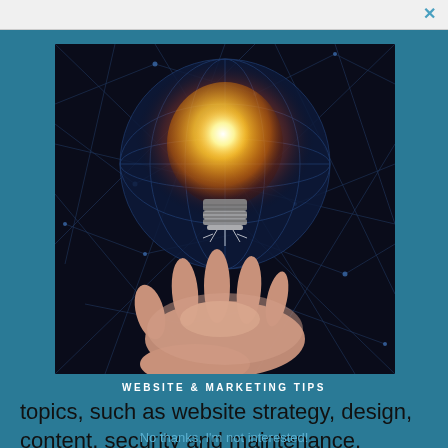[Figure (illustration): A glowing golden lightbulb shaped like a globe floating above an outstretched human hand, against a dark blue starry network background with glowing lines and nodes, suggesting technology and ideas.]
WEBSITE & MARKETING TIPS
topics, such as website strategy, design, content, security and maintenance.
No thanks, I'm not interested!